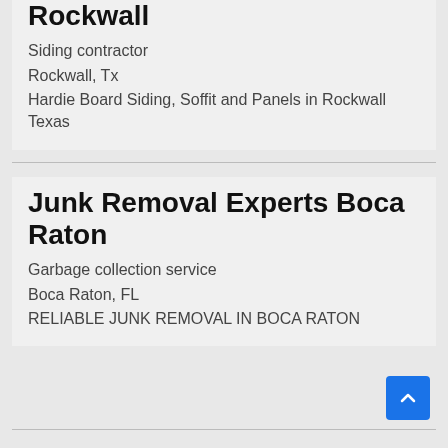First Choice Hardie Siding of Rockwall
Siding contractor
Rockwall, Tx
Hardie Board Siding, Soffit and Panels in Rockwall Texas
Junk Removal Experts Boca Raton
Garbage collection service
Boca Raton, FL
RELIABLE JUNK REMOVAL IN BOCA RATON